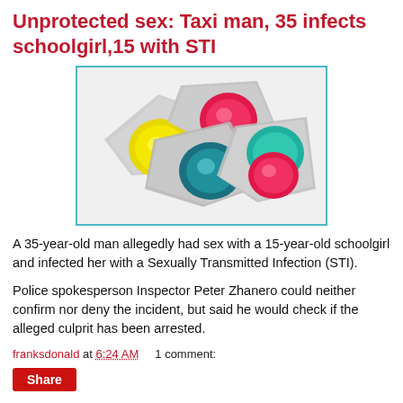Unprotected sex: Taxi man, 35 infects schoolgirl,15 with STI
[Figure (photo): Four colorful condom packets in silver foil wrappers with yellow, red/pink, dark blue/teal, and pink/red condoms visible, arranged overlapping on a white background.]
A 35-year-old man allegedly had sex with a 15-year-old schoolgirl and infected her with a Sexually Transmitted Infection (STI).
Police spokesperson Inspector Peter Zhanero could neither confirm nor deny the incident, but said he would check if the alleged culprit has been arrested.
franksdonald at 6:24 AM    1 comment:
Share